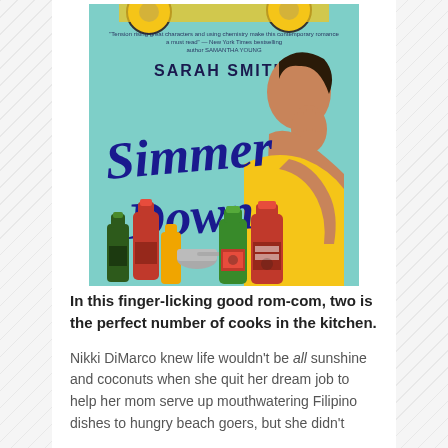[Figure (illustration): Book cover of 'Simmer Down' by Sarah Smith. Teal/mint background with a woman (brown skin, yellow top) posing with hand near face. Large dark navy script title 'Simmer Down'. Various condiment bottles (sriracha, hot sauce, soy sauce) at the bottom. Yellow food truck wheels at the top. A blurb from New York Times bestselling author Samantha Young at the top.]
In this finger-licking good rom-com, two is the perfect number of cooks in the kitchen.
Nikki DiMarco knew life wouldn't be all sunshine and coconuts when she quit her dream job to help her mom serve up mouthwatering Filipino dishes to hungry beach goers, but she didn't